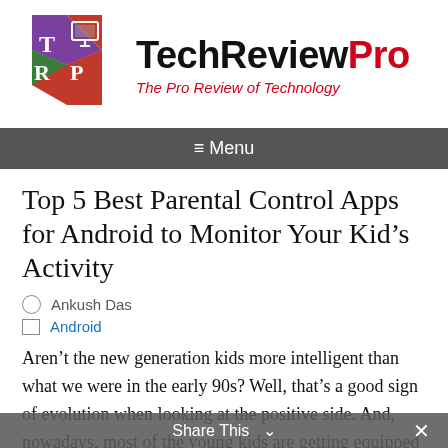[Figure (logo): TechReviewPro logo with geometric diamond shape in purple, red, green and a monitor icon, alongside brand name TechReviewPro and tagline The Pro Review of Technology]
≡ Menu
Top 5 Best Parental Control Apps for Android to Monitor Your Kid's Activity
Ankush Das
Android
Aren't the new generation kids more intelligent than what we were in the early 90s? Well, that's a good sign of evolution when looking at the positive side. And, nowadays, most of the young kids are getting equipped with smartphones which
Share This